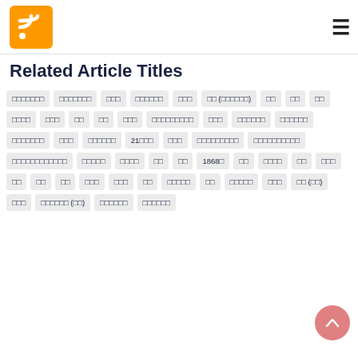RSS feed logo and hamburger menu
Related Article Titles
□□□□□□□
□□□□□□□
□□□
□□□□□□
□□□
□□ (□□□□□□)
□□
□□
□□
□□□□
□□□
□□
□□
□□□
□□□□□□□□□
□□□
□□□□□□
□□□□□□
□□□□□□□
□□□
□□□□□□
21□□□
□□□
□□□□□□□□□
□□□□□□□□□□
□□□□□□□□□□□□
□□□□□
□□□□
□□
□□
1868□
□□
□□□□
□□
□□□
□□
□□
□□
□□□
□□□
□□
□□□□□
□□
□□□□□
□□□
□□ (□□)
□□□
□□□□□□ (□□)
□□□□□□
□□□□□□